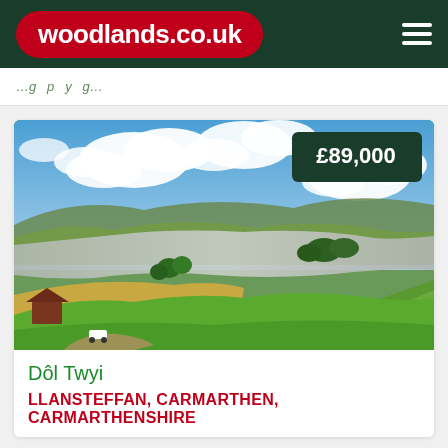woodlands.co.uk
…g…p…y…g…
[Figure (photo): Aerial countryside view showing green fields, an estuary/tidal river with exposed mudflats, rolling hills, trees and a bright blue sky with white clouds. A barn and white vehicle visible in the foreground.]
Dôl Twyi
LLANSTEFFAN, CARMARTHEN, CARMARTHENSHIRE